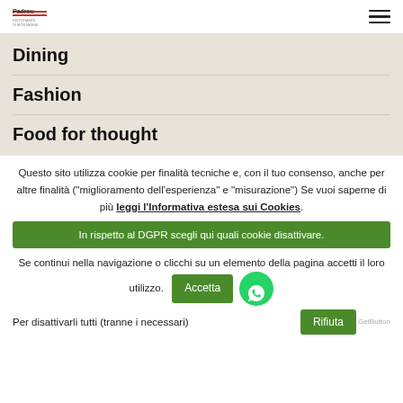Padreu [logo] | hamburger menu
Dining
Fashion
Food for thought
Questo sito utilizza cookie per finalità tecniche e, con il tuo consenso, anche per altre finalità ("miglioramento dell'esperienza" e "misurazione") Se vuoi saperne di più leggi l'Informativa estesa sui Cookies.
In rispetto al DGPR scegli qui quali cookie disattivare.
Se continui nella navigazione o clicchi su un elemento della pagina accetti il loro utilizzo.
Accetta
Per disattivarli tutti (tranne i necessari)
Rifiuta
GetButton